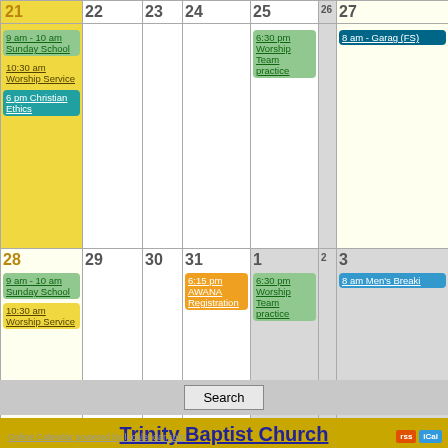| 21 | 22 | 23 | 24 | 25 | 26 | 27 |
| --- | --- | --- | --- | --- | --- | --- |
| 9 am - 10 am Sunday School / 10:30 am Worship Service / 6 pm Christian Ethics |  |  |  | 6:30 pm Worship Team practice |  | 8 am - Garage (FS) |
| 9 am - 10 am Sunday School / 10:30 am Worship Service |  |  | 31: 6:15 pm AWANA Registration | 1: 6:30 pm Worship Team practice | 2 | 3: 8 am Men's Breaki |
Trinity Baptist Church
Search
Online Calendar powered by localendar.com